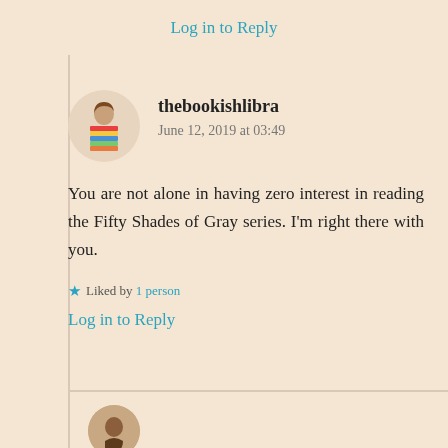Log in to Reply
thebookishlibra
June 12, 2019 at 03:49
You are not alone in having zero interest in reading the Fifty Shades of Gray series. I'm right there with you.
Liked by 1 person
Log in to Reply